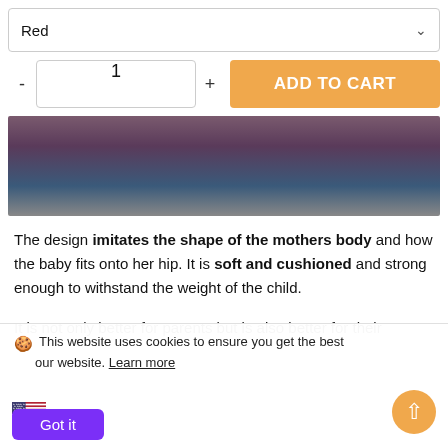Red
- 1 + ADD TO CART
[Figure (photo): Partial view of a person holding or wearing a baby carrier, close-up of torso area]
The design imitates the shape of the mothers body and how the baby fits onto her hip. It is soft and cushioned and strong enough to withstand the weight of the child.
It is not only better for parents but is also better for their
🍪 This website uses cookies to ensure you get the best experience on our website. Learn more
USD
Got it